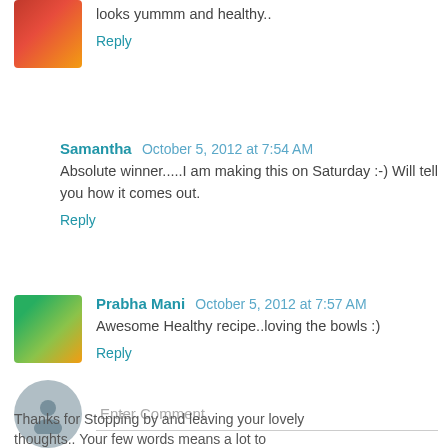looks yummm and healthy..
Reply
Samantha October 5, 2012 at 7:54 AM
Absolute winner.....I am making this on Saturday :-) Will tell you how it comes out.
Reply
Prabha Mani October 5, 2012 at 7:57 AM
Awesome Healthy recipe..loving the bowls :)
Reply
Enter Comment
Thanks for Stopping by and leaving your lovely thoughts.. Your few words means a lot to